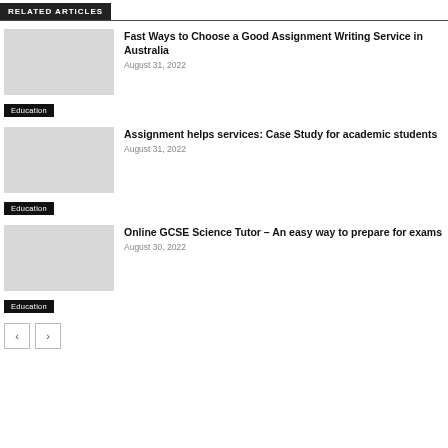RELATED ARTICLES
Fast Ways to Choose a Good Assignment Writing Service in Australia
August 31, 2022
Education
Assignment helps services: Case Study for academic students
August 31, 2022
Education
Online GCSE Science Tutor – An easy way to prepare for exams
August 30, 2022
Education